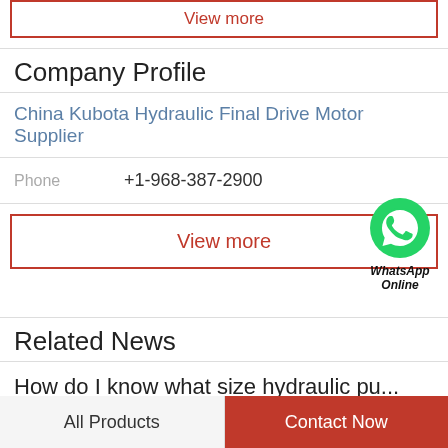View more
Company Profile
China Kubota Hydraulic Final Drive Motor Supplier
Phone  +1-968-387-2900
View more
[Figure (logo): WhatsApp green circle icon with phone handset, labeled WhatsApp Online]
Related News
How do I know what size hydraulic pu...
Hydraulic Pump Selection - River Grove, IL - Star Hydraulic Hydraulic...
All Products
Contact Now